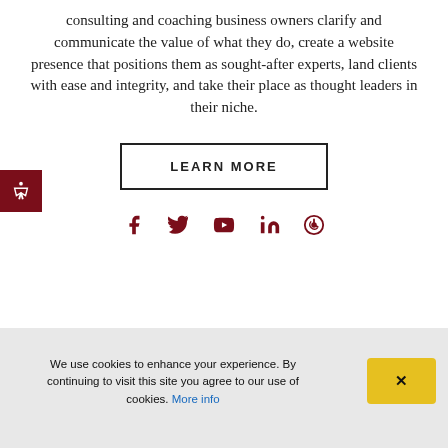I'm a Brand Positioning Strategist that helps consulting and coaching business owners clarify and communicate the value of what they do, create a website presence that positions them as sought-after experts, land clients with ease and integrity, and take their place as thought leaders in their niche.
[Figure (other): LEARN MORE call-to-action button with black border]
[Figure (other): Social media icons row: Facebook, Twitter, YouTube, LinkedIn, Podcast - all in dark red/maroon color]
We use cookies to enhance your experience. By continuing to visit this site you agree to our use of cookies. More info